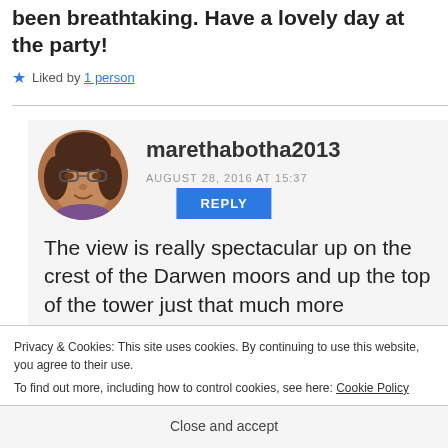been breathtaking. Have a lovely day at the party!
★ Liked by 1 person
REPLY
[Figure (photo): Circular avatar photo of commenter marethabotha2013, a woman with glasses and dark hair]
marethabotha2013
AUGUST 28, 2016 AT 15:37
The view is really spectacular up on the crest of the Darwen moors and up the top of the tower just that much more
Privacy & Cookies: This site uses cookies. By continuing to use this website, you agree to their use.
To find out more, including how to control cookies, see here: Cookie Policy
Close and accept